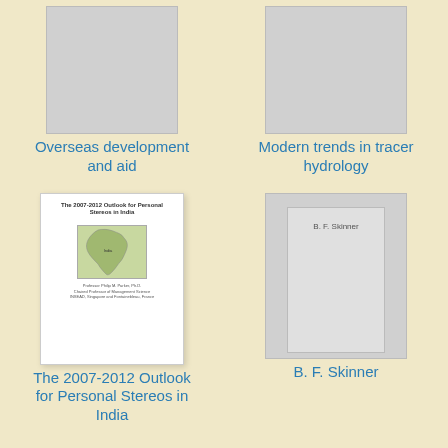[Figure (illustration): Book cover placeholder gray for Overseas development and aid]
Overseas development and aid
[Figure (illustration): Book cover placeholder gray for Modern trends in tracer hydrology]
Modern trends in tracer hydrology
[Figure (illustration): Book cover white showing The 2007-2012 Outlook for Personal Stereos in India with a map of India]
The 2007-2012 Outlook for Personal Stereos in India
[Figure (illustration): Book cover gray showing B. F. Skinner text on inner panel]
B. F. Skinner